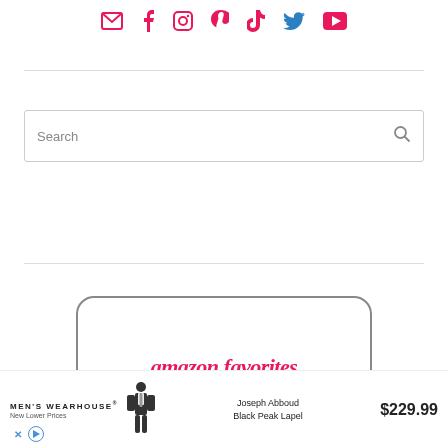[Figure (other): Social media icons row: email, Facebook, Instagram, Pinterest, TikTok, Twitter, YouTube — all in pink/red color]
[Figure (screenshot): Search box with 'Search' placeholder text and magnifying glass icon]
[Figure (other): Rounded card container with 'amazon favorites' text in pink italic font, partially visible]
[Figure (screenshot): Men's Wearhouse advertisement banner: 'MEN'S WEARHOUSE® New Lower Prices', figure of man in suit, 'Joseph Abboud Black Peak Lapel $229.99', with X and play icons]